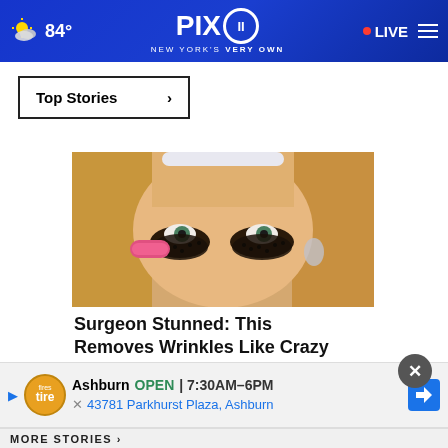84° PIX11 NEW YORK'S VERY OWN LIVE
Top Stories ›
[Figure (photo): Woman with dark eye mask treatment applied under her eyes, holding a pink brush]
Surgeon Stunned: This Removes Wrinkles Like Crazy (Try Tonight)
Ad by HealthScore
Ashburn OPEN | 7:30AM–6PM
43781 Parkhurst Plaza, Ashburn
MORE STORIES ›